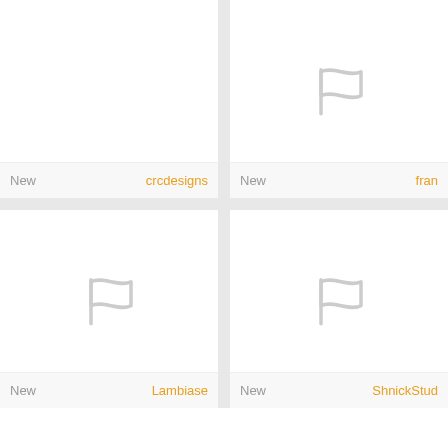[Figure (screenshot): Grid of four product/portfolio cards. Top-left cell: label bar showing 'New' and 'crcdesigns' in orange, no image placeholder visible. Top-right cell: label bar showing 'New' and 'fran' (truncated) in orange, flag placeholder icon centered. Bottom-left cell: label bar showing 'New' and 'Lambiase' in orange, flag placeholder icon centered. Bottom-right cell: label bar showing 'New' and 'ShnickStud' (truncated) in orange, flag placeholder icon centered.]